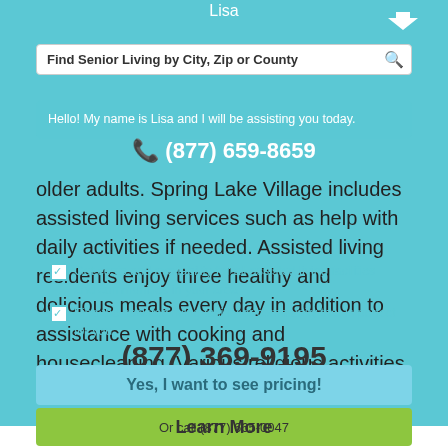Lisa
Find Senior Living by City, Zip or County
Hello! My name is Lisa and I will be assisting you today.
(877) 659-8659
older adults. Spring Lake Village includes assisted living services such as help with daily activities if needed. Assisted living residents enjoy three healthy and delicious meals every day in addition to assistance with cooking and housecleaning. Various religious activities are offered for Spring Lake Village residents as well as their families.
Get costs and availability for all assisted living facilities and communities in your area
Find the assisted living facility or community that is perfect for you
(877) 369-9195
Yes, I want to see pricing!
Or call (877) 665-0047
Learn More
View Pricing & Availability